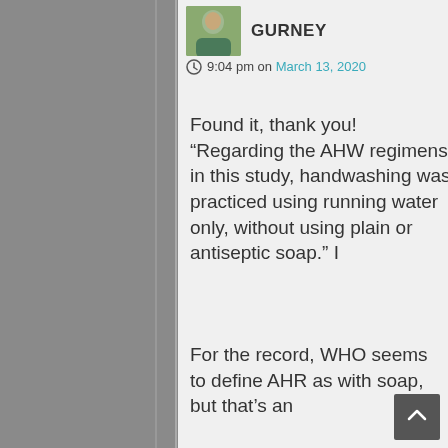[Figure (photo): User avatar photo of Gurney - a person in outdoor clothing]
Gurney
9:04 pm on March 13, 2020
Found it, thank you! “Regarding the AHW regimens in this study, handwashing was practiced using running water only, without using plain or antiseptic soap.” I
For the record, WHO seems to define AHR as with soap, but that’s an